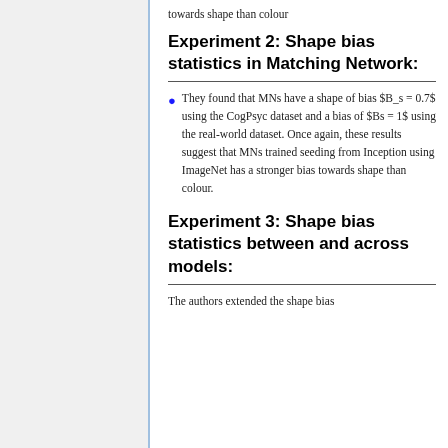towards shape than colour
Experiment 2: Shape bias statistics in Matching Network:
They found that MNs have a shape of bias $B_s = 0.7$ using the CogPsyc dataset and a bias of $Bs = 1$ using the real-world dataset. Once again, these results suggest that MNs trained seeding from Inception using ImageNet has a stronger bias towards shape than colour.
Experiment 3: Shape bias statistics between and across models:
The authors extended the shape bias